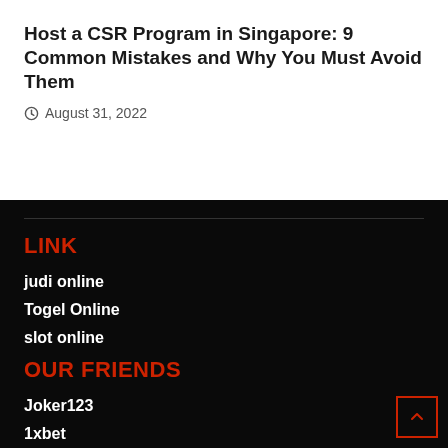Host a CSR Program in Singapore: 9 Common Mistakes and Why You Must Avoid Them
August 31, 2022
LINK
judi online
Togel Online
slot online
OUR FRIENDS
Joker123
1xbet